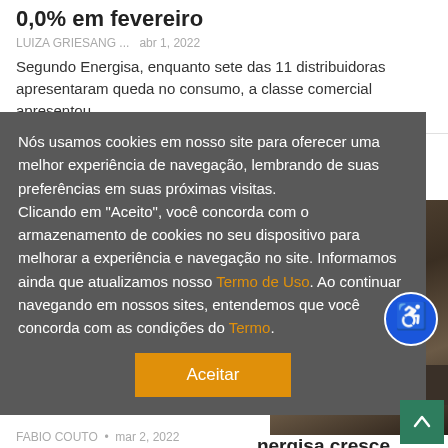0,0% em fevereiro
LUIZA GRIESANG ...   abr 1, 2022
Segundo Energisa, enquanto sete das 11 distribuidoras apresentaram queda no consumo, a classe comercial apresentou...
Nós usamos cookies em nosso site para oferecer uma melhor experiência de navegação, lembrando de suas preferências em suas próximas visitas.
Clicando em "Aceito", você concorda com o armazenamento de cookies no seu dispositivo para melhorar a experiência e navegação no site. Informamos ainda que atualizamos nosso Termo de Uso. Ao continuar navegando em nossos sites, entendemos que você concorda com as condições do Termo.
[Figure (photo): Close-up photo of mechanical/industrial machine parts, dark tones with metallic surfaces]
nergisa cresce
FABIO COUTO  •  mar 2, 2022